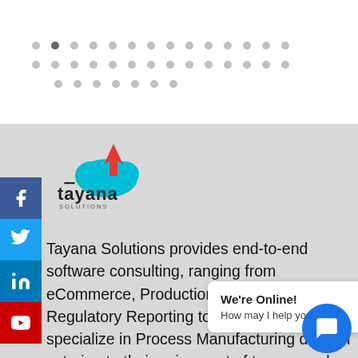[Figure (illustration): Dot grid navigation indicator with one darker active dot and many light gray dots arranged in three rows]
[Figure (logo): Tayana Solutions logo — cyan cloud with red upward arrow and text 'tayana SOLUTIONS']
Tayana Solutions provides end-to-end software consulting, ranging from eCommerce, Production, Quality, Regulatory Reporting to Customization. We specialize in Process Manufacturing domain catering to their unique set of tools, unlike the general manufacturing you
[Figure (screenshot): Live chat widget popup saying 'We're Online! How may I help you today?' with a blue chat bubble button]